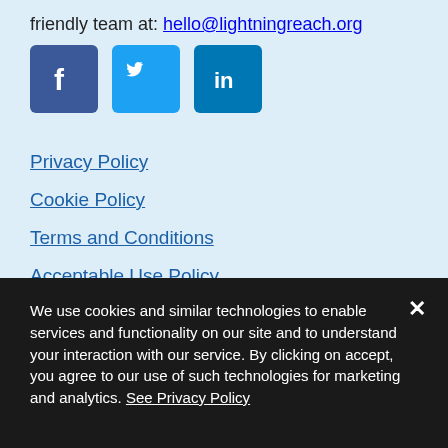friendly team at: hello@lightningreach.org
[Figure (illustration): Social media icons: Facebook (dark blue), Twitter (light blue), LinkedIn (blue)]
Privacy Policy
Cookie Policy
Terms and Conditions
Acceptable Use Policy
Social Innovation Council
We use cookies and similar technologies to enable services and functionality on our site and to understand your interaction with our service. By clicking on accept, you agree to our use of such technologies for marketing and analytics. See Privacy Policy